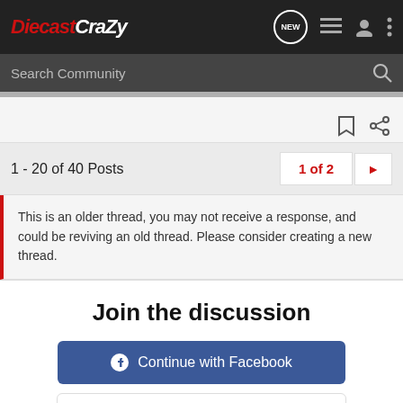DiecastCrazy — navigation bar with logo, NEW posts icon, list icon, user icon, more icon
Search Community
1 - 20 of 40 Posts    1 of 2 ▶
This is an older thread, you may not receive a response, and could be reviving an old thread. Please consider creating a new thread.
Join the discussion
Continue with Facebook